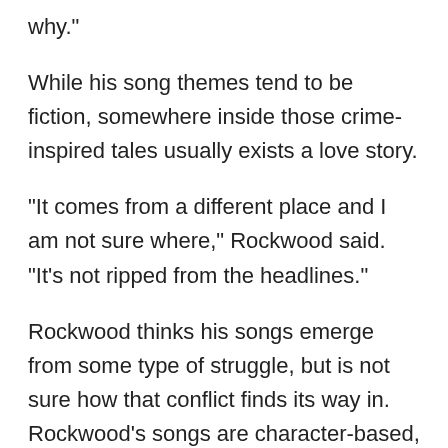why."
While his song themes tend to be fiction, somewhere inside those crime-inspired tales usually exists a love story.
"It comes from a different place and I am not sure where," Rockwood said. "It's not ripped from the headlines."
Rockwood thinks his songs emerge from some type of struggle, but is not sure how that conflict finds its way in. Rockwood's songs are character-based, with each person having their own special trait, he said.